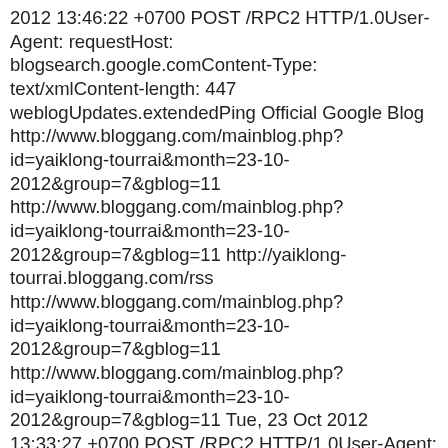2012 13:46:22 +0700 POST /RPC2 HTTP/1.0User-Agent: requestHost: blogsearch.google.comContent-Type: text/xmlContent-length: 447 weblogUpdates.extendedPing Official Google Blog http://www.bloggang.com/mainblog.php?id=yaiklong-tourrai&month=23-10-2012&group=7&gblog=11 http://www.bloggang.com/mainblog.php?id=yaiklong-tourrai&month=23-10-2012&group=7&gblog=11 http://yaiklong-tourrai.bloggang.com/rss http://www.bloggang.com/mainblog.php?id=yaiklong-tourrai&month=23-10-2012&group=7&gblog=11 http://www.bloggang.com/mainblog.php?id=yaiklong-tourrai&month=23-10-2012&group=7&gblog=11 Tue, 23 Oct 2012 13:33:27 +0700 POST /RPC2 HTTP/1.0User-Agent: requestHost: blogsearch.google.comContent-Type: text/xmlContent-length: 447 weblogUpdates.extendedPing Official Google Blog http://www.bloggang.com/mainblog.php?id=yaiklong-tourrai&month=02-10-2012&group=7&gblog=10 http://www.bloggang.com/mainblog.php?id=yaiklong-tourrai&month=02-10-2012&group=7&gblog=10 http://yaiklong-tourrai.bloggang.com/rss http://www.bloggang.com/mainblog.php?id=yaiklong-tourrai&month=02-10-2012&group=7&gblog=10 http://www.bloggang.com/mainblog.php?id=yaiklong-tourrai&month=02-10-2012&group=7&gblog=10 Tue, 02 Oct 2012 13:52:50 +0700 POST /RPC2 HTTP/1.0User-Agent: requestHost: blogsearch.google.comContent-Type: text/xmlContent-length: 447 weblogUpdates.extendedPing Official Google Blog